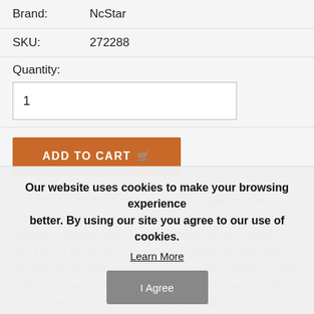Brand: NcStar
SKU: 272288
Quantity:
1
ADD TO CART
This MOLLE EMT Pouch has a double zippered main compartment that is a tri-fold design that unfolds into three separate compartments for easy access to your supplies. The flip-out panel has a zippered compartment with see-through mesh material to easily identify the supplies stored in that compartment. The other two panels have several pockets and a dozen elastic straps to organize
Our website uses cookies to make your browsing experience better. By using our site you agree to our use of cookies.
Learn More
I Agree